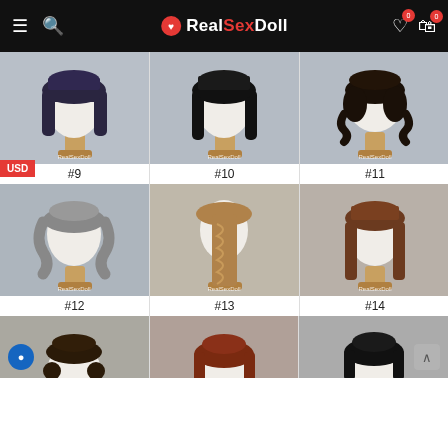RealSexDoll — navigation header with hamburger menu, search, logo, wishlist (0), cart (0)
[Figure (photo): Wig #9 — long straight dark purple/navy hair with bangs on mannequin head, RealSexDoll watermark]
[Figure (photo): Wig #10 — long straight black hair with bangs on mannequin head, RealSexDoll watermark]
[Figure (photo): Wig #11 — short wavy dark brown/black hair with bangs on mannequin head, RealSexDoll watermark]
#9
#10
#11
[Figure (photo): Wig #12 — long wavy gray hair on mannequin head, RealSexDoll watermark]
[Figure (photo): Wig #13 — long braided light brown/blonde hair on mannequin head, RealSexDoll watermark]
[Figure (photo): Wig #14 — long straight medium brown hair with bangs on mannequin head, RealSexDoll watermark]
#12
#13
#14
[Figure (photo): Wig #15 partial — dark brown hair with pigtail buns, partially visible]
[Figure (photo): Wig #16 partial — reddish-brown hair, partially visible]
[Figure (photo): Wig #17 partial — straight black hair, partially visible]